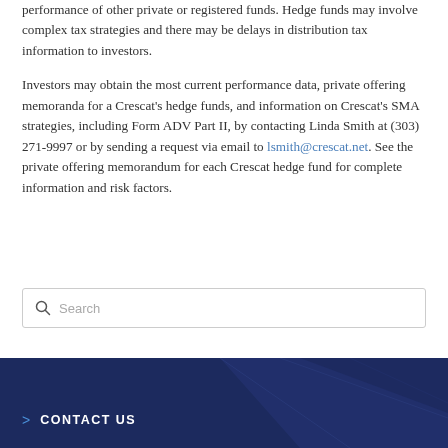performance of other private or registered funds. Hedge funds may involve complex tax strategies and there may be delays in distribution tax information to investors.
Investors may obtain the most current performance data, private offering memoranda for a Crescat's hedge funds, and information on Crescat's SMA strategies, including Form ADV Part II, by contacting Linda Smith at (303) 271-9997 or by sending a request via email to lsmith@crescat.net. See the private offering memorandum for each Crescat hedge fund for complete information and risk factors.
Search
CONTACT US